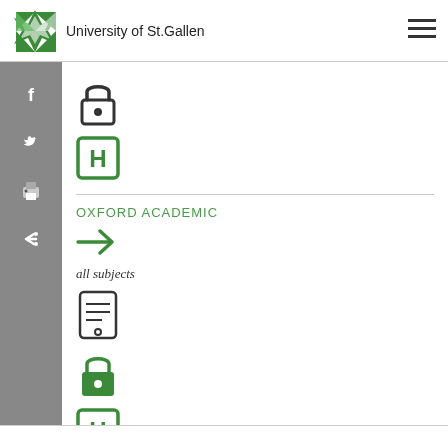University of St.Gallen
[Figure (illustration): Open padlock icon (outline style, black)]
[Figure (logo): Green H icon (square with letter H)]
OXFORD ACADEMIC
[Figure (illustration): Green right arrow icon]
all subjects
[Figure (illustration): Document/tablet icon (outline style, black)]
[Figure (illustration): Closed padlock icon (filled green)]
[Figure (logo): Green H icon (square with letter H)]